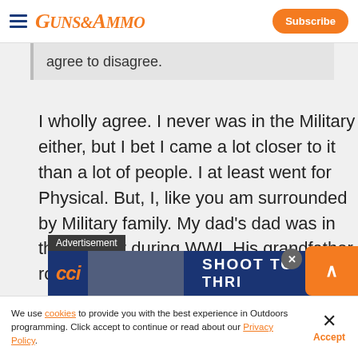GUNS&AMMO — Subscribe
agree to disagree.
I wholly agree. I never was in the Military either, but I bet I came a lot closer to it than a lot of people. I at least went for Physical. But, I, like you am surrounded by Military family. My dad's dad was in the Infantry during WWI. His grandfather road with Na[tional Guard?] all through the War of [...]
[Figure (screenshot): CCI advertisement banner reading SHOOT TO [THRILL] over a blue background with a shooter image]
We use cookies to provide you with the best experience in Outdoors programming. Click accept to continue or read about our Privacy Policy.